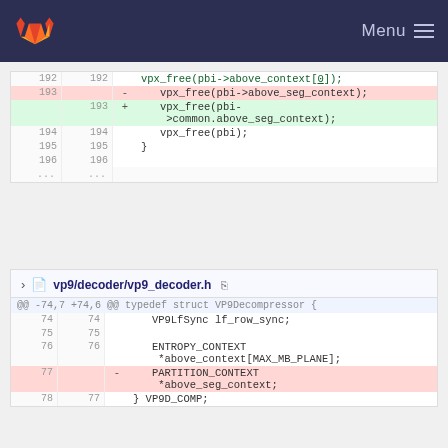GitLab — Menu
[Figure (screenshot): Code diff showing lines 192-196 with deletion of vpx_free(pbi->above_seg_context) and addition of vpx_free(pbi->common.above_seg_context)]
vp9/decoder/vp9_decoder.h
[Figure (screenshot): Code diff for vp9_decoder.h showing lines 74-78, with deletion of PARTITION_CONTEXT *above_seg_context; field at line 77]